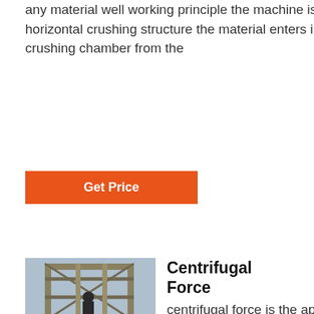any material well working principle the machine is of horizontal crushing structure the material enters into the crushing chamber from the
Get Price
[Figure (photo): Industrial machinery or construction equipment, appears to be a large metal structure with scaffolding]
Centrifugal Force
centrifugal force is the apparent outward force on a mass when it is rotated since earth rotates around a fixed axis the direction of centrifugal force is always outward away from the axis opposite to the direction of gravity at the equator at earth s poles it is zero centripetal force is the necessary inward force that keeps the mass from moving in a straight line it is the same size